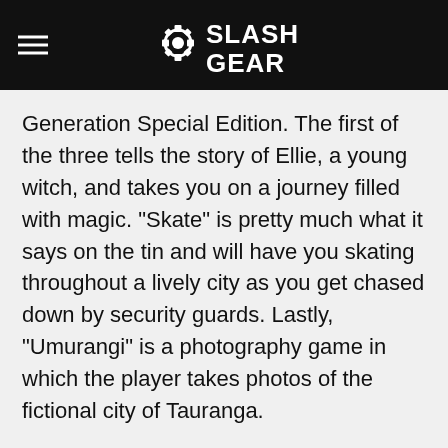SlashGear
Generation Special Edition. The first of the three tells the story of Ellie, a young witch, and takes you on a journey filled with magic. "Skate" is pretty much what it says on the tin and will have you skating throughout a lively city as you get chased down by security guards. Lastly, "Umurangi" is a photography game in which the player takes photos of the fictional city of Tauranga.